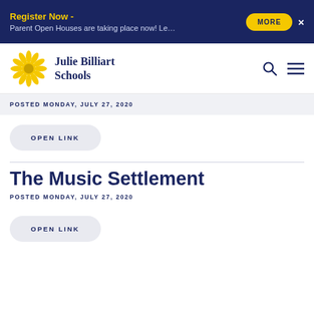Register Now - Parent Open Houses are taking place now! Le…
[Figure (logo): Julie Billiart Schools sunflower logo with school name]
POSTED MONDAY, JULY 27, 2020
OPEN LINK
The Music Settlement
POSTED MONDAY, JULY 27, 2020
OPEN LINK